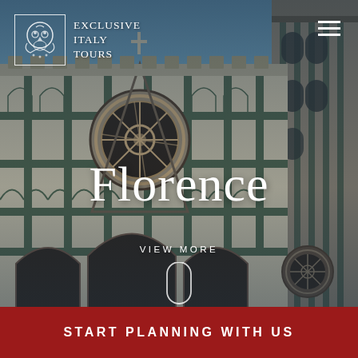[Figure (photo): Background photo of Florence Cathedral (Duomo) facade with ornate marble details, Gothic and Renaissance architecture, shot from below against a blue sky. Dark blue overlay applied.]
EXCLUSIVE ITALY TOURS
Florence
VIEW MORE
START PLANNING WITH US